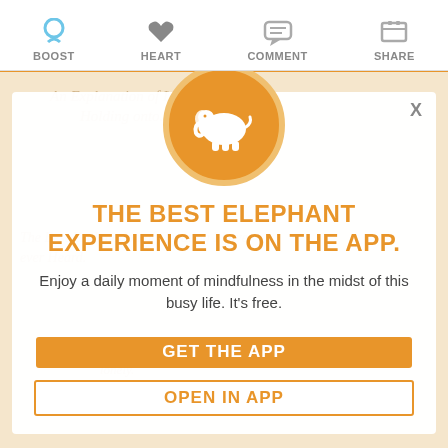BOOST   HEART   COMMENT   SHARE
[Figure (logo): Elephant Journal app modal with white elephant icon on orange circle]
THE BEST ELEPHANT EXPERIENCE IS ON THE APP.
Enjoy a daily moment of mindfulness in the midst of this busy life. It's free.
GET THE APP
OPEN IN APP